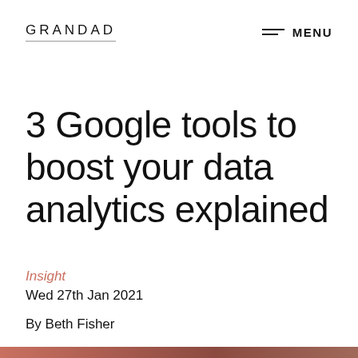GRANDAD  MENU
3 Google tools to boost your data analytics explained
Insight
Wed 27th Jan 2021
By Beth Fisher